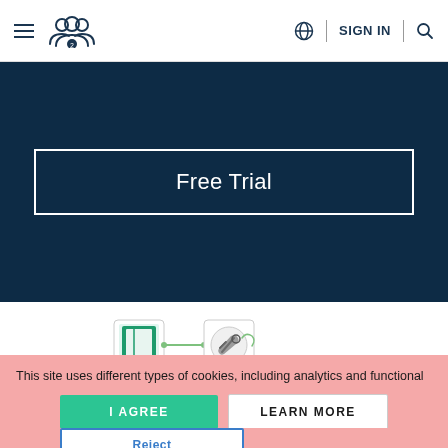≡ [people icon]   🌐 SIGN IN 🔍
[Figure (screenshot): Dark navy blue banner with a 'Free Trial' button (white bordered rectangle on dark background)]
[Figure (screenshot): Partial screenshot of a software workflow interface showing a book icon node connected to a wrench/settings icon node, with a label 'Motor Vehicle Sales (1)- 36847821-46ce-4853-8ce4-951822190d55.c']
This site uses different types of cookies, including analytics and functional cookies (its own and from other sites). To change your cookie settings or find out more, click here. If you continue browsing our website, you accept these cookies.
I AGREE
LEARN MORE
Reject